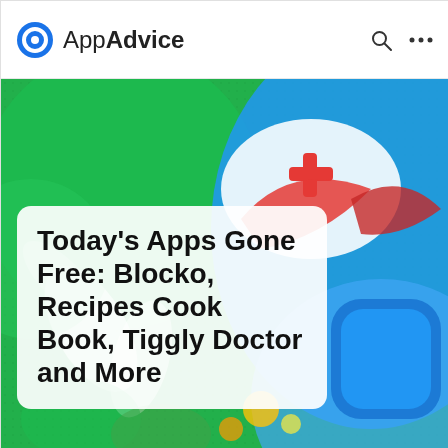AppAdvice
[Figure (illustration): Colorful app icons collage background with green, blue, red medical cross and cartoon characters on a green and blue dotted background]
Today's Apps Gone Free: Blocko, Recipes Cook Book, Tiggly Doctor and More